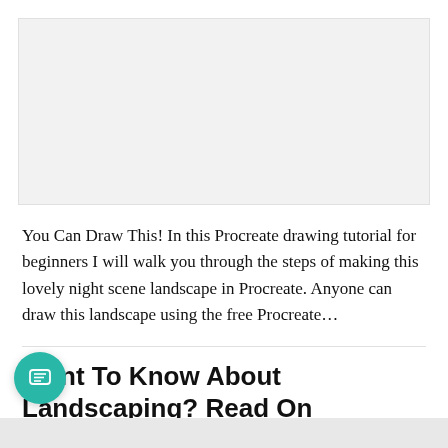[Figure (photo): Light gray placeholder image area for a Procreate drawing tutorial]
You Can Draw This! In this Procreate drawing tutorial for beginners I will walk you through the steps of making this lovely night scene landscape in Procreate. Anyone can draw this landscape using the free Procreate...
Want To Know About Landscaping? Read On
Dhudi Construction   AUGUST 18, 2022   2